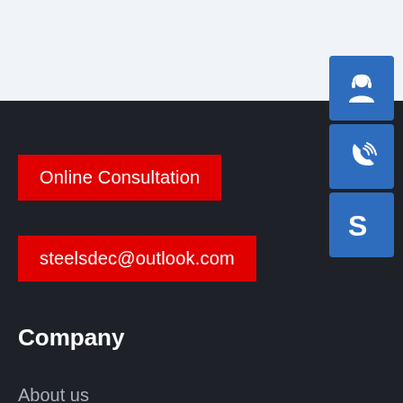[Figure (screenshot): Top light blue/gray banner area at the top of the page]
[Figure (infographic): Three blue icon buttons on the right side: customer support (headset), phone/call, and Skype logo icons]
Online Consultation
steelsdec@outlook.com
Company
About us
Services